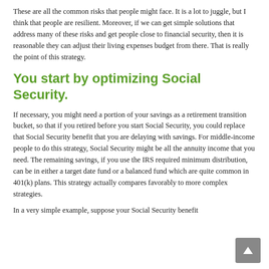These are all the common risks that people might face. It is a lot to juggle, but I think that people are resilient. Moreover, if we can get simple solutions that address many of these risks and get people close to financial security, then it is reasonable they can adjust their living expenses budget from there. That is really the point of this strategy.
You start by optimizing Social Security.
If necessary, you might need a portion of your savings as a retirement transition bucket, so that if you retired before you start Social Security, you could replace that Social Security benefit that you are delaying with savings. For middle-income people to do this strategy, Social Security might be all the annuity income that you need. The remaining savings, if you use the IRS required minimum distribution, can be in either a target date fund or a balanced fund which are quite common in 401(k) plans. This strategy actually compares favorably to more complex strategies.
In a very simple example, suppose your Social Security benefit